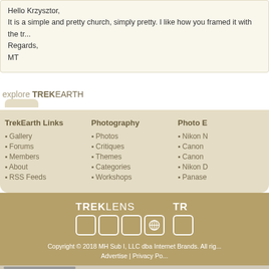Hello Krzysztor,
It is a simple and pretty church, simply pretty. I like how you framed it with the tr...
Regards,
MT
explore TREKEARTH
TrekEarth Links
- Gallery
- Forums
- Members
- About
- RSS Feeds
Photography
- Photos
- Critiques
- Themes
- Categories
- Workshops
Photo E...
- Nikon ...
- Canon ...
- Canon ...
- Nikon ...
- Panase...
[Figure (logo): TREKLENS logo with square icon boxes and a globe icon]
Copyright © 2018 MH Sub I, LLC dba Internet Brands. All rights reserved.
Advertise | Privacy Po...